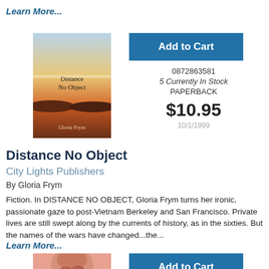Learn More...
[Figure (photo): Book cover of 'Distance No Object' by Gloria Frym, showing a sunset landscape]
Add to Cart
0872863581
5 Currently In Stock
PAPERBACK
$10.95
10/1/1999
Distance No Object
City Lights Publishers
By Gloria Frym
Fiction. In DISTANCE NO OBJECT, Gloria Frym turns her ironic, passionate gaze to post-Vietnam Berkeley and San Francisco. Private lives are still swept along by the currents of history, as in the sixties. But the names of the wars have changed...the...
Learn More...
[Figure (photo): Partial book cover image at bottom of page]
Add to Cart